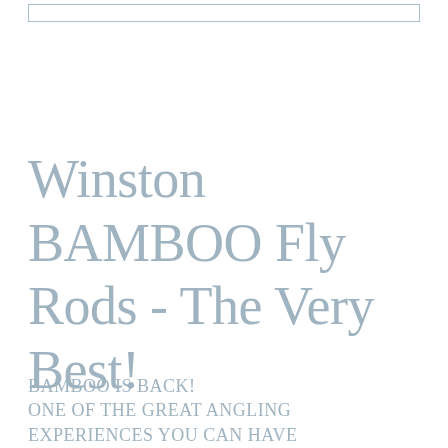Winston BAMBOO Fly Rods - The Very Best!
BAMBOO IS BACK!
ONE OF THE GREAT ANGLING EXPERIENCES YOU CAN HAVE